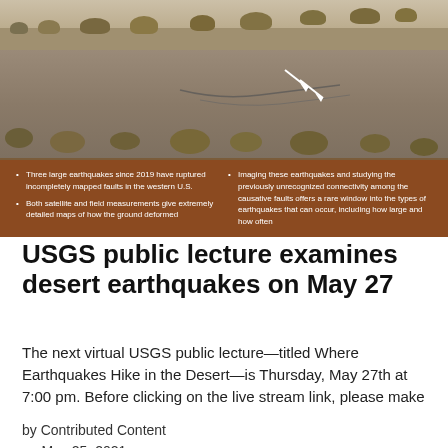[Figure (photo): A desert landscape with cracked/faulted ground and dry shrubs vegetation, with white arrows pointing to fault rupture features. Brown/rust colored panel below the photo contains bullet point text.]
• Three large earthquakes since 2019 have ruptured incompletely mapped faults in the western U.S.
• Both satellite and field measurements give extremely detailed maps of how the ground deformed
• Imaging these earthquakes and studying the previously unrecognized connectivity among the causative faults offers a rare window into the types of earthquakes that can occur, including how large and how often
USGS public lecture examines desert earthquakes on May 27
The next virtual USGS public lecture—titled Where Earthquakes Hike in the Desert—is Thursday, May 27th at 7:00 pm. Before clicking on the live stream link, please make
by Contributed Content
on May 25, 2021